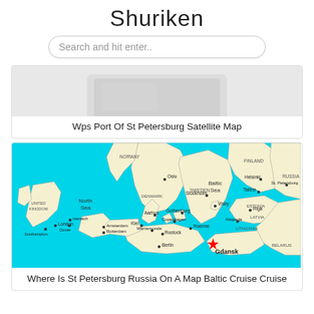Shuriken
Search and hit enter..
[Figure (photo): Laptop/device image (partial, top of card)]
Wps Port Of St Petersburg Satellite Map
[Figure (map): Map of Baltic Sea region showing North Sea, Norway, Sweden, Denmark, Finland, Estonia, Latvia, Lithuania, Russia, Belarus, United Kingdom. Cities labeled include Oslo, Stockholm, Gothenburg, Visby, Helsinki, St. Petersburg, Tallinn, Riga, Klaipeda, Aarhus, Copenhagen, Rostock, Warnemunde, Roenne, Kiel, Berlin, Amsterdam, Rotterdam, Harwich, Dover, Southampton, London. Gdansk is marked with a red star. Baltic Sea and North Sea are colored cyan/teal.]
Where Is St Petersburg Russia On A Map Baltic Cruise Cruise